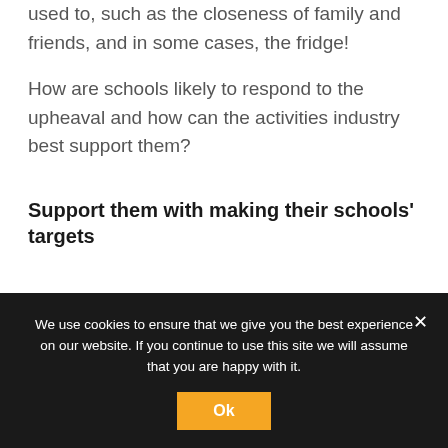used to, such as the closeness of family and friends, and in some cases, the fridge!
How are schools likely to respond to the upheaval and how can the activities industry best support them?
Support them with making their schools' targets
We use cookies to ensure that we give you the best experience on our website. If you continue to use this site we will assume that you are happy with it.